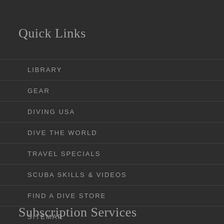Quick Links
LIBRARY
GEAR
DIVING USA
DIVE THE WORLD
TRAVEL SPECIALS
SCUBA SKILLS & VIDEOS
FIND A DIVE STORE
SITEMAP
Subscription Services